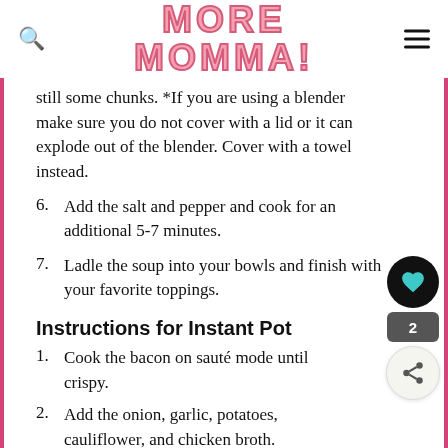MORE MOMMA!
still some chunks. *If you are using a blender make sure you do not cover with a lid or it can explode out of the blender. Cover with a towel instead.
6. Add the salt and pepper and cook for an additional 5-7 minutes.
7. Ladle the soup into your bowls and finish with your favorite toppings.
Instructions for Instant Pot
1. Cook the bacon on sauté mode until crispy.
2. Add the onion, garlic, potatoes, cauliflower, and chicken broth.
3. Cook on manual for 10 minutes. Release the pressure manually.